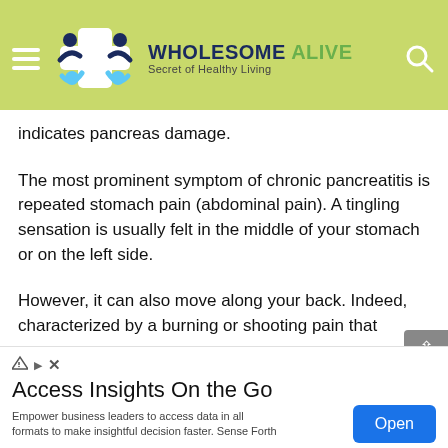[Figure (logo): Wholesome Alive website header with logo showing people figures around a cross, brand name 'WHOLESOME ALIVE', tagline 'Secret of Healthy Living', hamburger menu icon and search icon on lime-green background]
indicates pancreas damage.
The most prominent symptom of chronic pancreatitis is repeated stomach pain (abdominal pain). A tingling sensation is usually felt in the middle of your stomach or on the left side.
However, it can also move along your back. Indeed, characterized by a burning or shooting pain that
[Figure (screenshot): Ad banner: 'Access Insights On the Go' with description 'Empower business leaders to access data in all formats to make insightful decision faster. Sense Forth' and an 'Open' button]